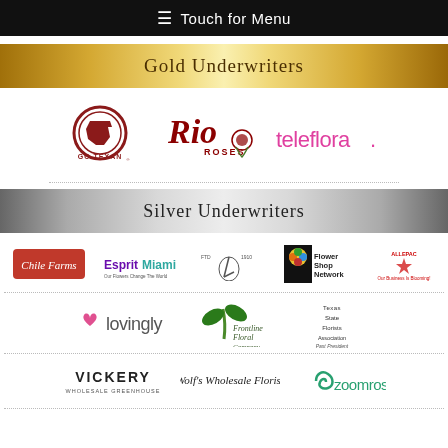☰ Touch for Menu
Gold Underwriters
[Figure (logo): Gold Underwriter logos: GO TEXAN, Rio Roses, teleflora]
Silver Underwriters
[Figure (logo): Silver Underwriter logos row 1: Chile Farms, EspritMiami, FTD, Flower Shop Network, Our Business Is Blooming!]
[Figure (logo): Silver Underwriter logos row 2: lovingly, Frontline Floral Company, Texas Florists Association]
[Figure (logo): Silver Underwriter logos row 3: VICKERY Wholesale Greenhouse, Wolf's Wholesale Florist, zoomroses]